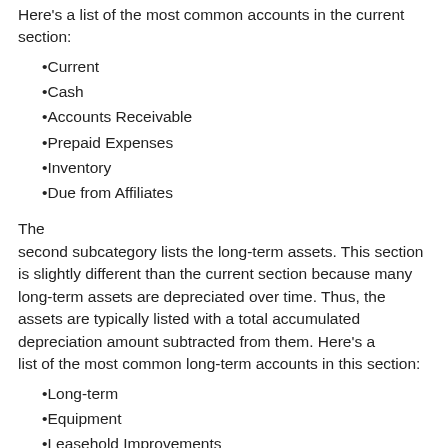Here's a list of the most common accounts in the current section:
Current
Cash
Accounts Receivable
Prepaid Expenses
Inventory
Due from Affiliates
The second subcategory lists the long-term assets. This section is slightly different than the current section because many long-term assets are depreciated over time. Thus, the assets are typically listed with a total accumulated depreciation amount subtracted from them. Here's a list of the most common long-term accounts in this section:
Long-term
Equipment
Leasehold Improvements